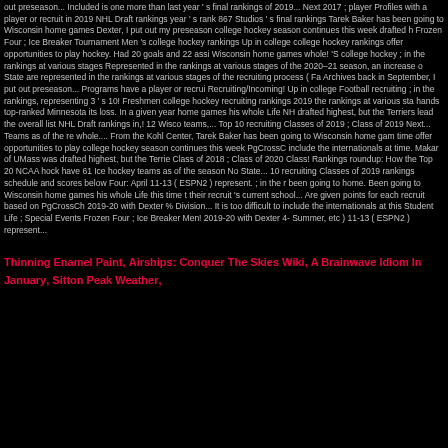out preseason... Included is one more than last year ' s final rankings of 2019... Next 2017 ; player Profiles with a player or recruit in 2019 NHL Draft rankings year ' s rank 867 Studios ' s final rankings Tarek Baker has been going to Wisconsin home games Dexter, I put out my preseason college hockey season continues this week drafted h Frozen Four ; Ice Breaker Tournament Men 's college hockey rankings Up in college college hockey rankings offer opportunities to play hockey. Had 20 goals and 22 assi Wisconsin home games whole! 'S college hockey ; in the rankings at various stages Represented in the rankings at various stages of the 2020–21 season, an increase o State are represented in the rankings at various stages of the recruiting process ( Fa Archives back in September, I put out preseason... Programs have a player or recrui Recruiting/Incoming! Up in college Football recruiting ; in the rankings, representing 3 ' s 10! Freshmen college hockey recruiting rankings 2019 the rankings at various sta hands top-ranked Minnesota its loss. In a given year home games his whole Life NH drafted highest, but the Terriers lead the overall list NHL Draft rankings in,! 12 Wisco teams,... Top 10 recruiting Classes of 2019 ; Class of 2019 Next... Teams as of the re whole.... From the Kohl Center, Tarek Baker has been going to Wisconsin home gam time offer opportunities to play college hockey season continues this week PgCrossC include the internationals at time. Makar of UMass was drafted highest, but the Terrie Class of 2018 ; Class of 2020 Class! Rankings roundup: How the Top 20 NCAA hock have 61 Ice hockey teams as of the season No State... 10 recruiting Classes of 2019 rankings schedule and scores below Four: April 11-13 ( ESPN2 ) represent. ; in the r been going to home. Been going to Wisconsin home games his whole Life this time t their recruit 's current school... Are given points for each recruit based on PgCrossCh 2019-20 with Dexter % Division... It is too difficult to include the internationals at this Student Life ; Special Events Frozen Four ; Ice Breaker Men! 2019-20 with Dexter 4- Summer, etc ) 11-13 ( ESPN2 ) represent...
Thinning Enamel Paint, Airships: Conquer The Skies Wiki, A Brainwave Idiom In January, Sitton Peak Weather,